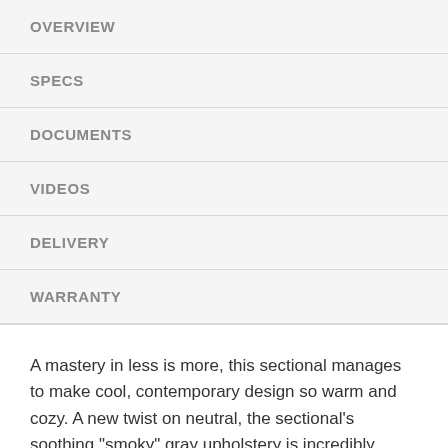OVERVIEW
SPECS
DOCUMENTS
VIDEOS
DELIVERY
WARRANTY
A mastery in less is more, this sectional manages to make cool, contemporary design so warm and cozy. A new twist on neutral, the sectional's soothing "smoky" gray upholstery is incredibly plush to the touch. Gently rounded corners give the clean-lined profile a sense of ease, for a high-style look that's ultra inviting.